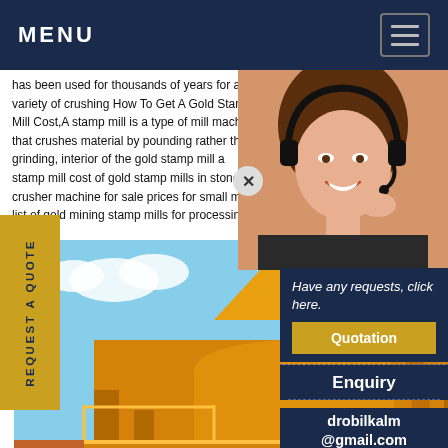MENU
has been used for thousands of years for a variety of crushing How To Get A Gold Stamp Mill Cost,A stamp mill is a type of mill machine that crushes material by pounding rather than grinding, interior of the gold stamp mill a stamp mill cost of gold stamp mills in stone crusher machine for sale prices for small m list of gold mining stamp mills for processing gold
[Figure (photo): Customer service representative woman with headset smiling]
REQUEST A QUOTE
[Figure (photo): Large yellow industrial mining/crushing machine on construction site with blue sky background]
Have any requests, click here.
Quotation
Enquiry
drobilkalm@gmail.com